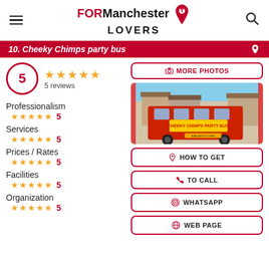FOR Manchester LOVERS
10. Cheeky Chimps Party Bus
5 reviews, rating 5
Professionalism 5
Services 5
Prices / Rates 5
Facilities 5
Organization 5
[Figure (photo): Red double-decker party bus with 'Cheeky Chimps Party Bus' written on it, parked in a residential area]
MORE PHOTOS
HOW TO GET
TO CALL
WHATSAPP
WEB PAGE